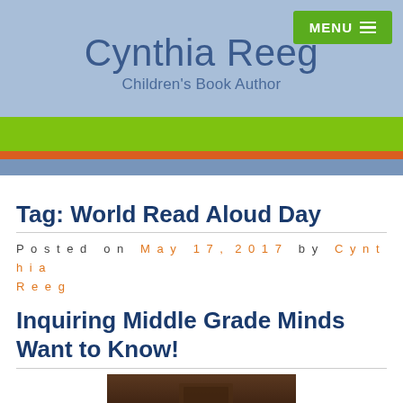Cynthia Reeg — Children's Book Author
Tag: World Read Aloud Day
Posted on May 17, 2017 by Cynthia Reeg
Inquiring Middle Grade Minds Want to Know!
[Figure (photo): Partial view of a dark-toned book or table image at the bottom of the page]